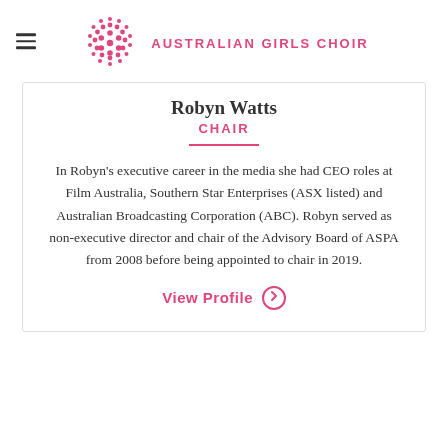Australian Girls Choir
Robyn Watts
CHAIR
In Robyn's executive career in the media she had CEO roles at Film Australia, Southern Star Enterprises (ASX listed) and Australian Broadcasting Corporation (ABC). Robyn served as non-executive director and chair of the Advisory Board of ASPA from 2008 before being appointed to chair in 2019.
View Profile →